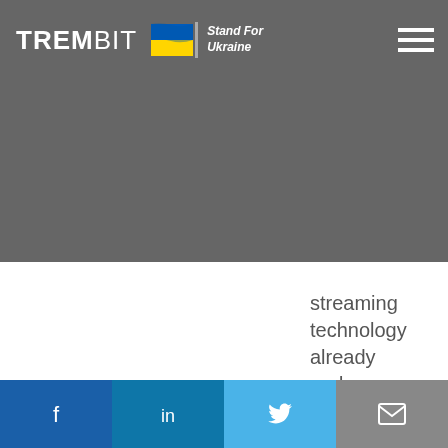TREMBIT | Stand For Ukraine
industries that are benefiting from live video streaming technology already and are planning to do so in the future.
Facebook | LinkedIn | Twitter | Email